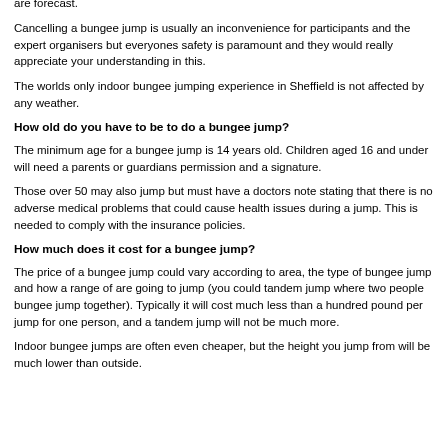Windspeed is the biggest problem affecting bungee jumps covering London. Bungee jumps will not be interrupted by rain unless thunderstorms and lightning are forecast.
Cancelling a bungee jump is usually an inconvenience for participants and the expert organisers but everyones safety is paramount and they would really appreciate your understanding in this.
The worlds only indoor bungee jumping experience in Sheffield is not affected by any weather.
How old do you have to be to do a bungee jump?
The minimum age for a bungee jump is 14 years old. Children aged 16 and under will need a parents or guardians permission and a signature.
Those over 50 may also jump but must have a doctors note stating that there is no adverse medical problems that could cause health issues during a jump. This is needed to comply with the insurance policies.
How much does it cost for a bungee jump?
The price of a bungee jump could vary according to area, the type of bungee jump and how a range of are going to jump (you could tandem jump where two people bungee jump together). Typically it will cost much less than a hundred pound per jump for one person, and a tandem jump will not be much more.
Indoor bungee jumps are often even cheaper, but the height you jump from will be much lower than outside.